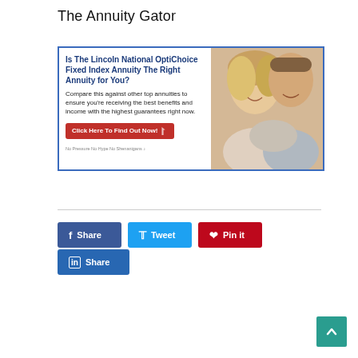The Annuity Gator
[Figure (infographic): Advertisement banner with blue border. Left side has bold blue headline 'Is The Lincoln National OptiChoice Fixed Index Annuity The Right Annuity for You?' followed by body text 'Compare this against other top annuities to ensure you're receiving the best benefits and income with the highest guarantees right now.' A red button reads 'Click Here To Find Out Now!' with small disclaimer text 'No Pressure No Hype No Shenanigans'. Right side shows a photo of a smiling middle-aged couple.]
[Figure (infographic): Social sharing buttons row 1: blue Facebook Share button, cyan Twitter Tweet button, dark red Pinterest Pin it button. Row 2: dark blue LinkedIn Share button.]
[Figure (other): Teal back-to-top button with upward chevron arrow in bottom right corner.]